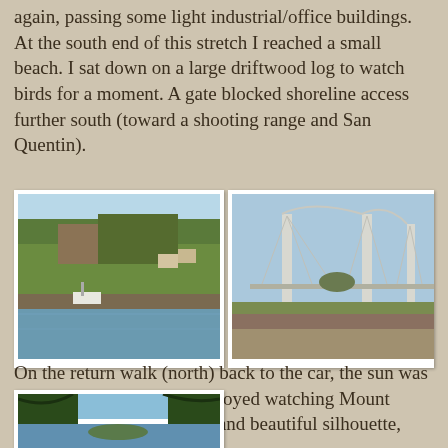again, passing some light industrial/office buildings. At the south end of this stretch I reached a small beach. I sat down on a large driftwood log to watch birds for a moment. A gate blocked shoreline access further south (toward a shooting range and San Quentin).
[Figure (photo): Waterway with a boat and tree-covered hillside with houses in background]
[Figure (photo): Large bridge (Richmond-San Rafael Bridge) over water with green marsh in foreground]
On the return walk (north) back to the car, the sun was setting in the west and I enjoyed watching Mount Tamalpais turn into a dark and beautiful silhouette, surrounded by the sunset.
[Figure (photo): View through trees of water and small island]